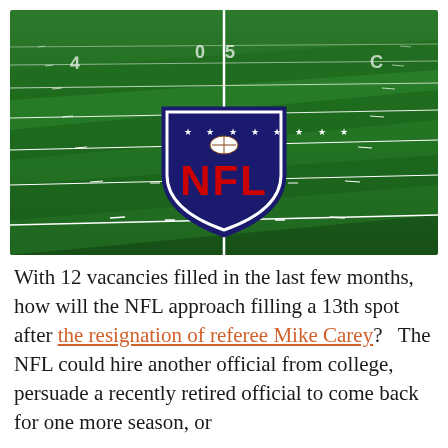[Figure (photo): Aerial view of an NFL football field with green turf, white yard lines, and the NFL shield logo (blue shield with red NFL letters and white stars) painted at midfield.]
With 12 vacancies filled in the last few months, how will the NFL approach filling a 13th spot after the resignation of referee Mike Carey?   The NFL could hire another official from college, persuade a recently retired official to come back for one more season, or